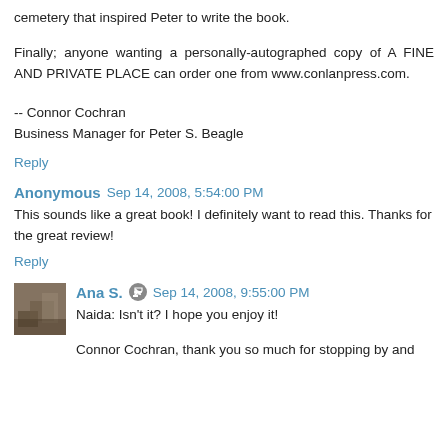cemetery that inspired Peter to write the book.
Finally; anyone wanting a personally-autographed copy of A FINE AND PRIVATE PLACE can order one from www.conlanpress.com.
-- Connor Cochran
Business Manager for Peter S. Beagle
Reply
Anonymous  Sep 14, 2008, 5:54:00 PM
This sounds like a great book! I definitely want to read this. Thanks for the great review!
Reply
Ana S.  Sep 14, 2008, 9:55:00 PM
Naida: Isn't it? I hope you enjoy it!
Connor Cochran, thank you so much for stopping by and